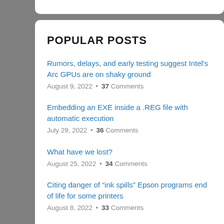POPULAR POSTS
Rumors, delays, and early testing suggest Intel's Arc GPUs are on shaky ground
August 9, 2022 • 37 Comments
Embedding an EXE inside a .REG file with automatic execution
July 29, 2022 • 36 Comments
What have we lost?
August 25, 2022 • 34 Comments
Citing danger of "ink spills" Epson programs end of life for some printers
August 8, 2022 • 33 Comments
Why I left PINE64